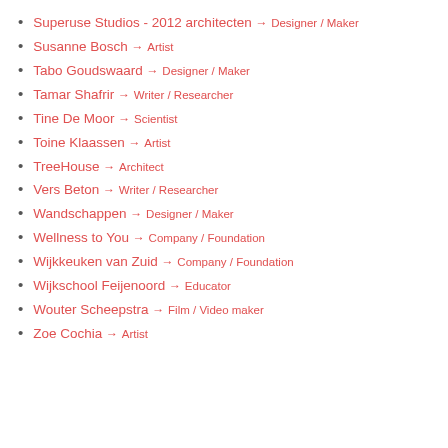Superuse Studios - 2012 architecten → Designer / Maker
Susanne Bosch → Artist
Tabo Goudswaard → Designer / Maker
Tamar Shafrir → Writer / Researcher
Tine De Moor → Scientist
Toine Klaassen → Artist
TreeHouse → Architect
Vers Beton → Writer / Researcher
Wandschappen → Designer / Maker
Wellness to You → Company / Foundation
Wijkkeuken van Zuid → Company / Foundation
Wijkschool Feijenoord → Educator
Wouter Scheepstra → Film / Video maker
Zoe Cochia → Artist